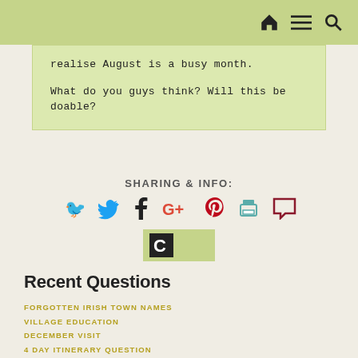Navigation bar with home, menu, and search icons
realise August is a busy month.

What do you guys think? Will this be doable?
SHARING & INFO:
[Figure (infographic): Social sharing icons: Twitter (blue), Facebook (dark blue/black), Google+ (red), Pinterest (red), print (teal), comment (dark red)]
[Figure (logo): Crier logo button - green background with black C icon]
Recent Questions
FORGOTTEN IRISH TOWN NAMES
VILLAGE EDUCATION
DECEMBER VISIT
4 DAY ITINERARY QUESTION
FOOD IN PUBS AFTER 9PM
HYPOTHETICAL: SHEEP HERDING IN IRELAND
NATURAL HISTORY VISIT TO THE BURREN